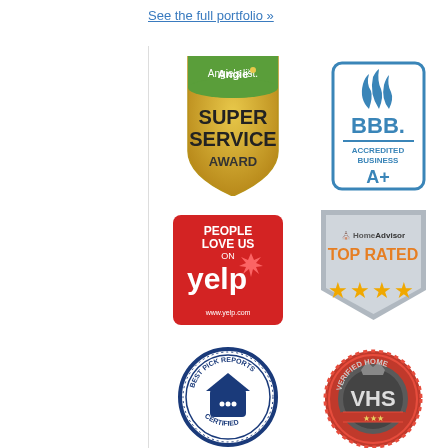See the full portfolio »
[Figure (logo): Angie's List Super Service Award badge - gold shield shape with green top and text 'Angie's list. SUPER SERVICE AWARD']
[Figure (logo): BBB Accredited Business A+ badge - rectangular with blue border, blue BBB flame logo, text 'BBB. ACCREDITED BUSINESS A+']
[Figure (logo): Yelp People Love Us badge - red square with white text 'PEOPLE LOVE US ON yelp' and yelp logo, www.yelp.com]
[Figure (logo): HomeAdvisor Top Rated badge - gray shield shape with HomeAdvisor logo and orange stars, text 'TOP RATED']
[Figure (logo): Best Pick Reports Certified badge - circular blue badge with house/chat icon]
[Figure (logo): Verified Home Services VHS badge - red wax seal style circular badge with VHS text]